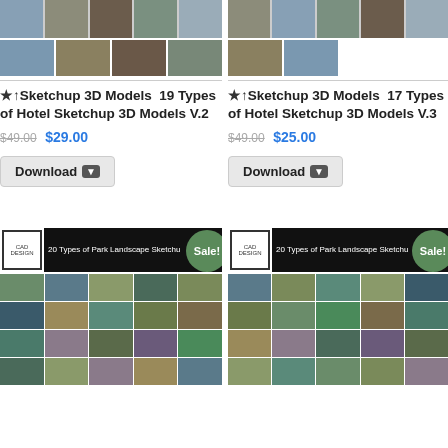[Figure (photo): Hotel Sketchup 3D models thumbnail strip - top row left product]
[Figure (photo): Hotel Sketchup 3D models thumbnail strip - second row left product]
★↑Sketchup 3D Models  19 Types of Hotel Sketchup 3D Models V.2
$49.00 $29.00
Download
[Figure (photo): Hotel Sketchup 3D models thumbnail strip - top row right product]
[Figure (photo): Hotel Sketchup 3D models thumbnail strip - second row right product]
★↑Sketchup 3D Models  17 Types of Hotel Sketchup 3D Models V.3
$49.00 $25.00
Download
[Figure (photo): 20 Types of Park Landscape Sketchup banner and thumbnail grid - left product with Sale badge]
[Figure (photo): 20 Types of Park Landscape Sketchup banner and thumbnail grid - right product with Sale badge]